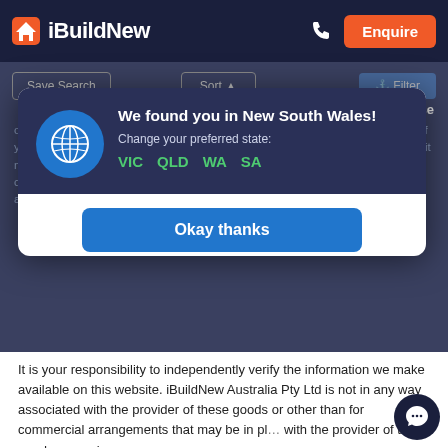iBuildNew — Enquire
[Figure (screenshot): Website toolbar with Save Search, Sort, X Close, and Filter buttons on dark background]
We found you in New South Wales!
Change your preferred state:
VIC  QLD  WA  SA
Okay thanks
It is your responsibility to independently verify the information we make available on this website. iBuildNew Australia Pty Ltd is not in any way associated with the provider of these goods or other than for commercial arrangements that may be in place with the provider of these goods or services.